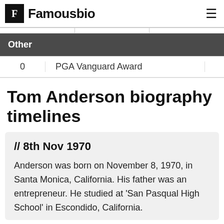Famousbio
|  | Other |  |
| --- | --- | --- |
| 0 | PGA Vanguard Award |  |
Tom Anderson biography timelines
// 8th Nov 1970
Anderson was born on November 8, 1970, in Santa Monica, California. His father was an entrepreneur. He studied at 'San Pasqual High School' in Escondido, California.